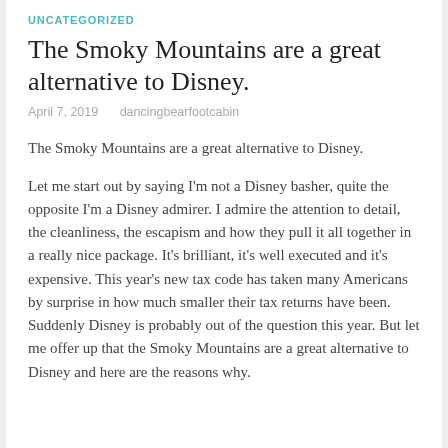UNCATEGORIZED
The Smoky Mountains are a great alternative to Disney.
April 7, 2019   dancingbearfootcabin
The Smoky Mountains are a great alternative to Disney.
Let me start out by saying I'm not a Disney basher, quite the opposite I'm a Disney admirer.  I admire the attention to detail, the cleanliness, the escapism and how they pull it all together in a really nice package.  It's brilliant, it's well executed and it's expensive.  This year's new tax code has taken many Americans by surprise in how much smaller their tax returns have been.  Suddenly Disney is probably out of the question this year.  But let me offer up that the Smoky Mountains are a great alternative to Disney and here are the reasons why.